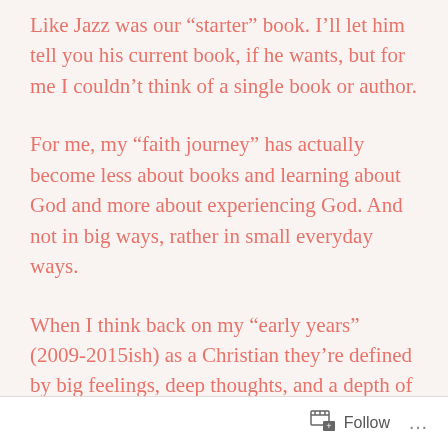Like Jazz was our “starter” book. I’ll let him tell you his current book, if he wants, but for me I couldn’t think of a single book or author.
For me, my “faith journey” has actually become less about books and learning about God and more about experiencing God. And not in big ways, rather in small everyday ways.
When I think back on my “early years” (2009-2015ish) as a Christian they’re defined by big feelings, deep thoughts, and a depth of exploration.
Follow